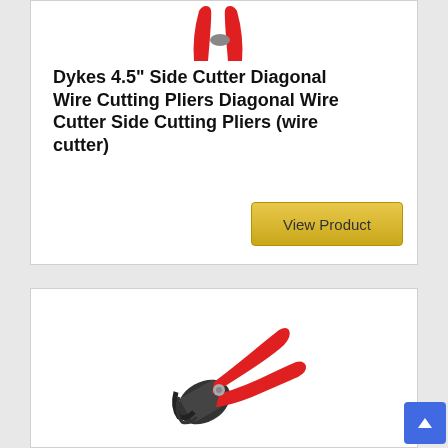[Figure (photo): Red diagonal wire cutting pliers viewed from above, handles visible at top]
Dykes 4.5" Side Cutter Diagonal Wire Cutting Pliers Diagonal Wire Cutter Side Cutting Pliers (wire cutter)
[Figure (photo): Red handled pliers/wire cutter tool shown diagonally, lower portion of the tool visible]